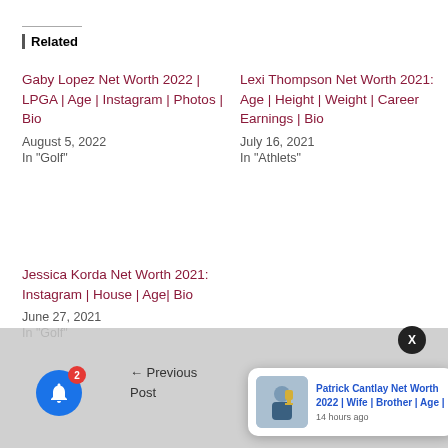Related
Gaby Lopez Net Worth 2022 | LPGA | Age | Instagram | Photos | Bio
August 5, 2022
In "Golf"
Lexi Thompson Net Worth 2021: Age | Height | Weight | Career Earnings | Bio
July 16, 2021
In "Athlets"
Jessica Korda Net Worth 2021: Instagram | House | Age| Bio
June 27, 2021
In "Golf"
Previous Post
[Figure (photo): Notification popup showing Patrick Cantlay holding trophy, with text: Patrick Cantlay Net Worth 2022 | Wife | Brother | Age | — 14 hours ago]
[Figure (illustration): Blue bell notification button with red badge showing '2', and dark X close button]